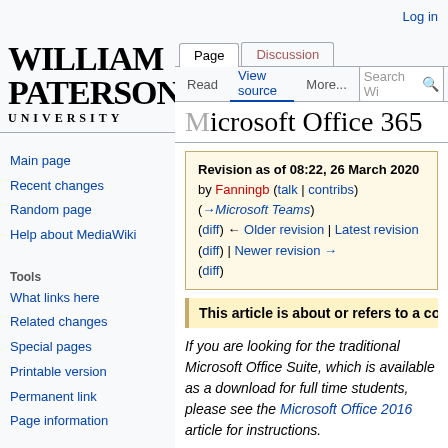Log in
[Figure (logo): William Paterson University logo in black serif text]
Main page
Recent changes
Random page
Help about MediaWiki
Tools
What links here
Related changes
Special pages
Printable version
Permanent link
Page information
Microsoft Office 365
Revision as of 08:22, 26 March 2020 by Fanningb (talk | contribs) (→Microsoft Teams) (diff) ← Older revision | Latest revision (diff) | Newer revision → (diff)
This article is about or refers to a collab
If you are looking for the traditional Microsoft Office Suite, which is available as a download for full time students, please see the Microsoft Office 2016 article for instructions.
Microsoft Office 365 is a subscription-